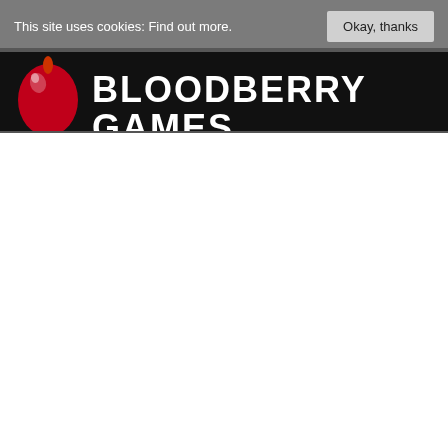This site uses cookies: Find out more.
Okay, thanks
[Figure (logo): Bloodberry Games logo: red balloon illustration on the left, bold white pixel-style text reading BLOODBERRY GAMES on black background]